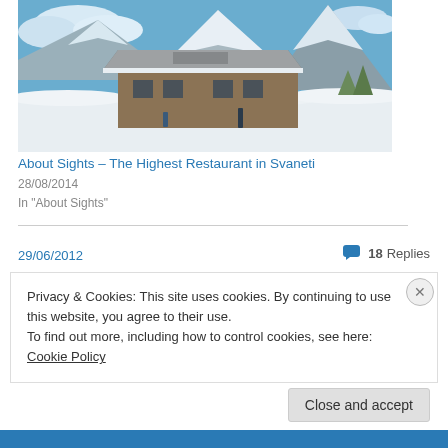[Figure (photo): Snow-covered mountain lodge/restaurant with snowy mountains and blue sky in the background (Svaneti, Georgia ski resort area)]
About Sights – The Highest Restaurant in Svaneti
28/08/2014
In "About Sights"
29/06/2012
18 Replies
Privacy & Cookies: This site uses cookies. By continuing to use this website, you agree to their use.
To find out more, including how to control cookies, see here: Cookie Policy